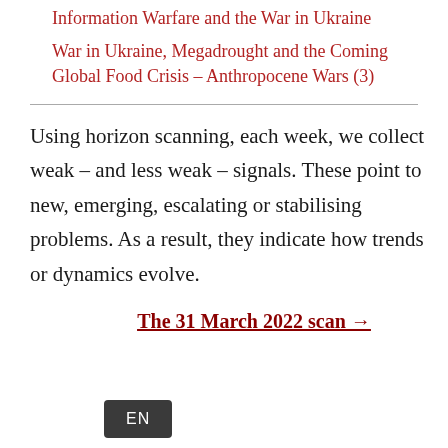Information Warfare and the War in Ukraine
War in Ukraine, Megadrought and the Coming Global Food Crisis – Anthropocene Wars (3)
Using horizon scanning, each week, we collect weak – and less weak – signals. These point to new, emerging, escalating or stabilising problems. As a result, they indicate how trends or dynamics evolve.
The 31 March 2022 scan →
[Figure (other): EN language selector button, dark grey/black rounded rectangle with white EN text]